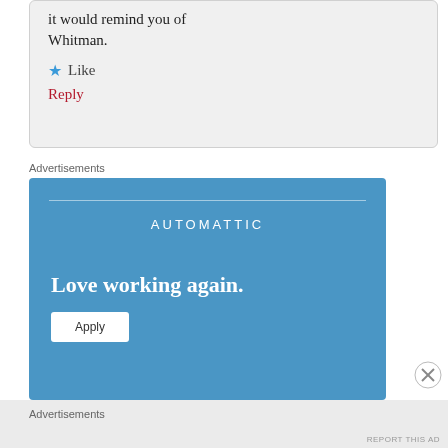it would remind you of Whitman.
★ Like
Reply
Advertisements
[Figure (other): Automattic advertisement banner with blue background, company name AUTOMATTIC, tagline 'Love working again.' and an Apply button]
Advertisements
REPORT THIS AD